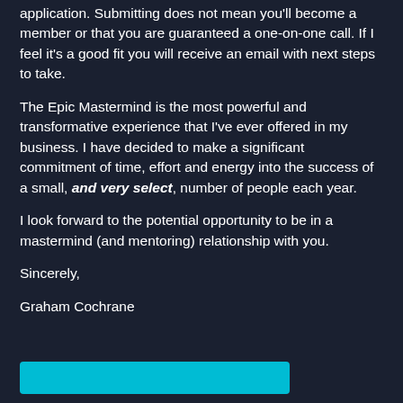application. Submitting does not mean you'll become a member or that you are guaranteed a one-on-one call. If I feel it's a good fit you will receive an email with next steps to take.
The Epic Mastermind is the most powerful and transformative experience that I've ever offered in my business. I have decided to make a significant commitment of time, effort and energy into the success of a small, and very select, number of people each year.
I look forward to the potential opportunity to be in a mastermind (and mentoring) relationship with you.
Sincerely,
Graham Cochrane
[Figure (other): Cyan/teal colored button bar at the bottom of the page]